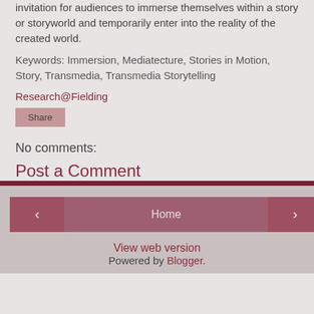invitation for audiences to immerse themselves within a story or storyworld and temporarily enter into the reality of the created world.
Keywords: Immersion, Mediatecture, Stories in Motion, Story, Transmedia, Transmedia Storytelling
Research@Fielding
Share
No comments:
Post a Comment
Home
View web version
Powered by Blogger.